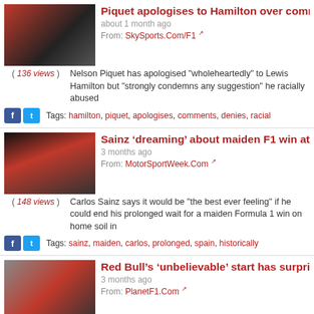[Figure (photo): Photo of Nelson Piquet and Lewis Hamilton]
Piquet apologises to Hamilton over comm...
about 1 month ago
From: SkySports.Com/F1
( 136 views ) Nelson Piquet has apologised "wholeheartedly" to Lewis Hamilton but "strongly condemns any suggestion" he racially abused
Tags: hamilton, piquet, apologises, comments, denies, racial
[Figure (photo): Photo of Ferrari F1 car]
Sainz ‘dreaming’ about maiden F1 win at h...
3 months ago
From: MotorSportWeek.Com
( 148 views ) Carlos Sainz says it would be "the best ever feeling" if he could end his prolonged wait for a maiden Formula 1 win on home soil in
Tags: sainz, maiden, carlos, prolonged, spain, historically
[Figure (photo): Photo of Red Bull team and Christian Horner]
Red Bull’s ‘unbelievable’ start has surpris...
3 months ago
From: PlanetF1.Com
( 260 views ) Red Bull have surprised Christian Horner with how strongly they have begun this season. read more »
Tags: redbull, redbulls, unbelievable, surprised, horner, chris1
[Figure (photo): Photo of racing car on track]
“Credit to Esteban for driving a strong rac...
3 months ago
From: TheCheckeredFlag.Co.Uk